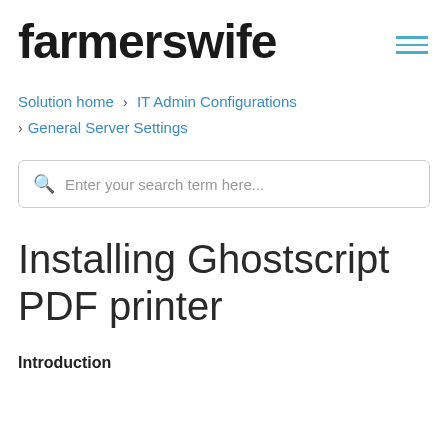farmerswife
Solution home › IT Admin Configurations › General Server Settings
Enter your search term here...
Installing Ghostscript PDF printer
Introduction